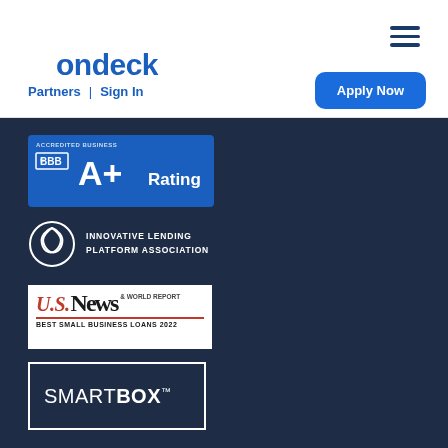ondeck
Partners | Sign In
Apply Now
[Figure (logo): BBB Accredited Business A+ Rating badge with blue background]
[Figure (logo): Innovative Lending Platform Association logo with circular icon]
[Figure (logo): U.S. News & World Report Best Small Business Loans 2022 badge]
[Figure (logo): SMARTBOX trademark logo with white border box outline]